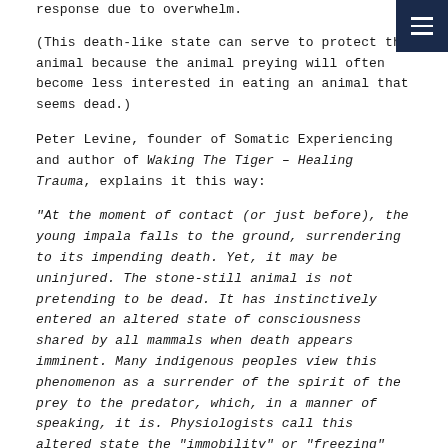response due to overwhelm.
(This death-like state can serve to protect the animal because the animal preying will often become less interested in eating an animal that seems dead.)
Peter Levine, founder of Somatic Experiencing and author of Waking The Tiger – Healing Trauma, explains it this way:
“At the moment of contact (or just before), the young impala falls to the ground, surrendering to its impending death. Yet, it may be uninjured. The stone-still animal is not pretending to be dead. It has instinctively entered an altered state of consciousness shared by all mammals when death appears imminent. Many indigenous peoples view this phenomenon as a surrender of the spirit of the prey to the predator, which, in a manner of speaking, it is. Physiologists call this altered state the “immobility” or “freezing” response.”
But, it’s clear in the next bit built it is a major human...